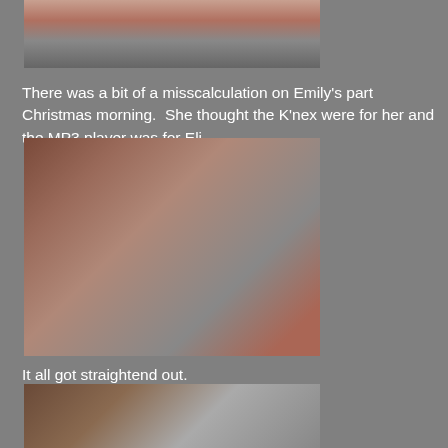[Figure (photo): Partial top photo showing a child in pink clothing indoors with what appears to be a fireplace and train tracks in the background]
There was a bit of a misscalculation on Emily's part Christmas morning.  She thought the K'nex were for her and the MP3 player was for Eli.
[Figure (photo): Indoor Christmas morning photo showing two young children near a fireplace, one small girl in dark clothing holding a colorful toy and a boy in red Christmas pajamas standing nearby, with wrapped gift packages visible]
It all got straightend out.
[Figure (photo): Partial bottom photo showing the same indoor Christmas scene near the fireplace with a child visible at the bottom]